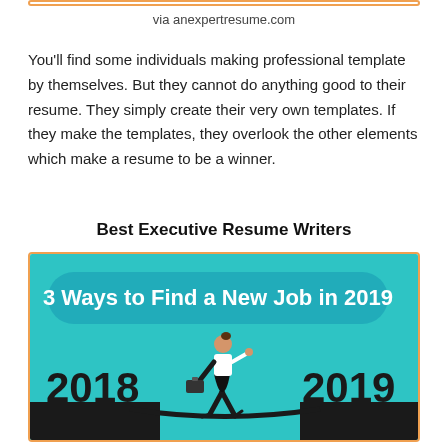via anexpertresume.com
You'll find some individuals making professional template by themselves. But they cannot do anything good to their resume. They simply create their very own templates. If they make the templates, they overlook the other elements which make a resume to be a winner.
Best Executive Resume Writers
[Figure (infographic): Infographic titled '3 Ways to Find a New Job in 2019' showing a businesswoman walking a tightrope between 2018 and 2019, carrying a briefcase, on a teal background with large bold text '2018' on the left and '2019' on the right.]